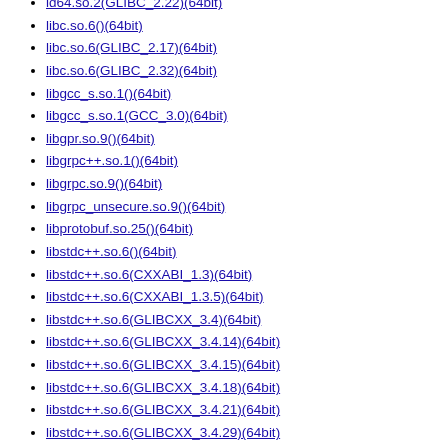ld64.so.2(GLIBC_2.22)(64bit)
libc.so.6()(64bit)
libc.so.6(GLIBC_2.17)(64bit)
libc.so.6(GLIBC_2.32)(64bit)
libgcc_s.so.1()(64bit)
libgcc_s.so.1(GCC_3.0)(64bit)
libgpr.so.9()(64bit)
libgrpc++.so.1()(64bit)
libgrpc.so.9()(64bit)
libgrpc_unsecure.so.9()(64bit)
libprotobuf.so.25()(64bit)
libstdc++.so.6()(64bit)
libstdc++.so.6(CXXABI_1.3)(64bit)
libstdc++.so.6(CXXABI_1.3.5)(64bit)
libstdc++.so.6(GLIBCXX_3.4)(64bit)
libstdc++.so.6(GLIBCXX_3.4.14)(64bit)
libstdc++.so.6(GLIBCXX_3.4.15)(64bit)
libstdc++.so.6(GLIBCXX_3.4.18)(64bit)
libstdc++.so.6(GLIBCXX_3.4.21)(64bit)
libstdc++.so.6(GLIBCXX_3.4.29)(64bit)
rpmlib(CompressedFileNames) <= 3.0.4-1
rpmlib(FileDigests) <= 4.6.0-1
rpmlib(PayloadFilesHavePrefix) <= 4.0-1
rpmlib(PayloadIsZstd) <= 5.4.18-1
rtld(GNU_HASH)